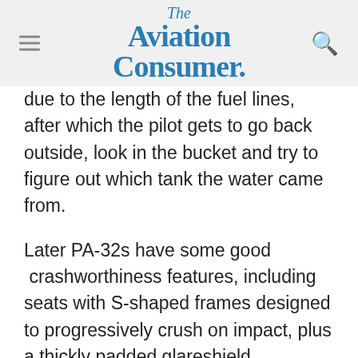The Aviation Consumer
due to the length of the fuel lines, after which the pilot gets to go back outside, look in the bucket and try to figure out which tank the water came from.
Later PA-32s have some good crashworthiness features, including seats with S-shaped frames designed to progressively crush on impact, plus a thickly padded glareshield.
STUFF OR FUEL?
Typical of single-engine airplanes, the Lances and Saratoga SPs force the pilot to choose between filling the cabin and filling the tanks. Still, an airplane this size is quite practical when it comes to hauling, because carrying four good-sized adults with lots of baggage and full fuel is easily possible. The